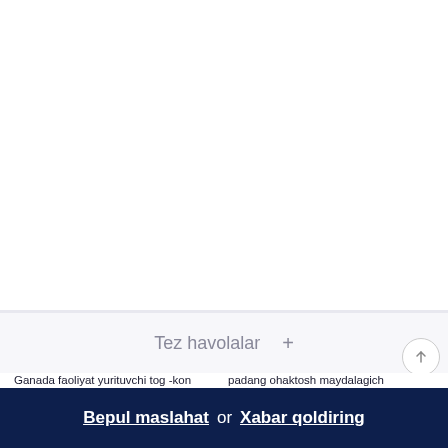Tez havolalar +
Ganada faoliyat yurituvchi tog -kon korxonalari
padang ohaktosh maydalagich
n
to
Bepul maslahat or Xabar qoldiring